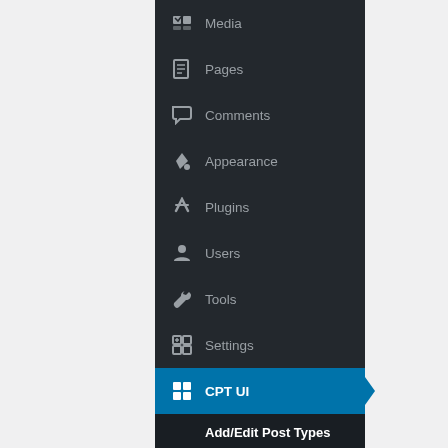[Figure (screenshot): WordPress admin sidebar navigation menu showing: Media, Pages, Comments, Appearance, Plugins, Users, Tools, Settings menu items, followed by CPT UI (active/highlighted in blue) with submenu items: Add/Edit Post Types (bold), Add/Edit Taxonomies, Registered Types/Taxes, Tools]
Media
Pages
Comments
Appearance
Plugins
Users
Tools
Settings
CPT UI
Add/Edit Post Types
Add/Edit Taxonomies
Registered Types/Taxes
Tools